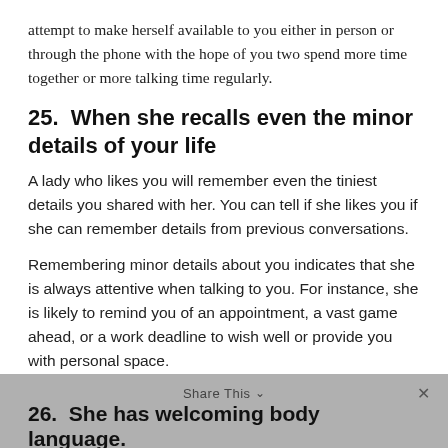attempt to make herself available to you either in person or through the phone with the hope of you two spend more time together or more talking time regularly.
25.  When she recalls even the minor details of your life
A lady who likes you will remember even the tiniest details you shared with her. You can tell if she likes you if she can remember details from previous conversations.
Remembering minor details about you indicates that she is always attentive when talking to you. For instance, she is likely to remind you of an appointment, a vast game ahead, or a work deadline to wish well or provide you with personal space.
Share This ∨  ×
26.  She has welcoming body language.